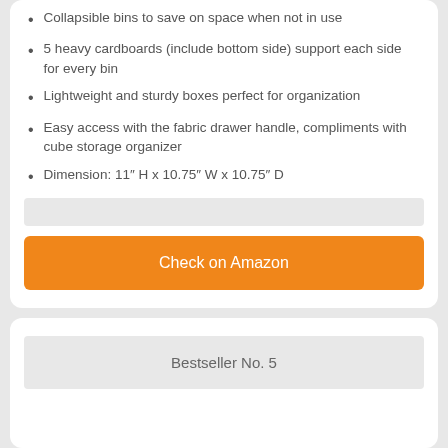Collapsible bins to save on space when not in use
5 heavy cardboards (include bottom side) support each side for every bin
Lightweight and sturdy boxes perfect for organization
Easy access with the fabric drawer handle, compliments with cube storage organizer
Dimension: 11″ H x 10.75″ W x 10.75″ D
Check on Amazon
Bestseller No. 5